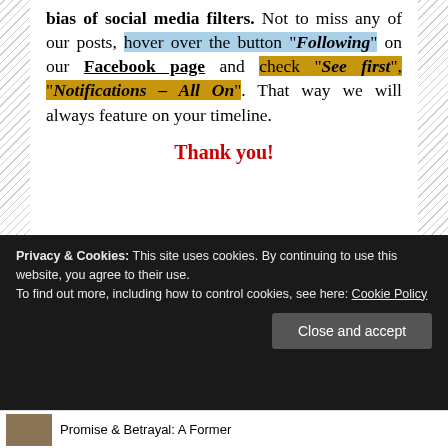bias of social media filters. Not to miss any of our posts, hover over the button "Following" on our Facebook page and check "See first", "Notifications - All On". That way we will always feature on your timeline.
Thank you!
Privacy & Cookies: This site uses cookies. By continuing to use this website, you agree to their use. To find out more, including how to control cookies, see here: Cookie Policy
Close and accept
Promise & Betrayal: A Former